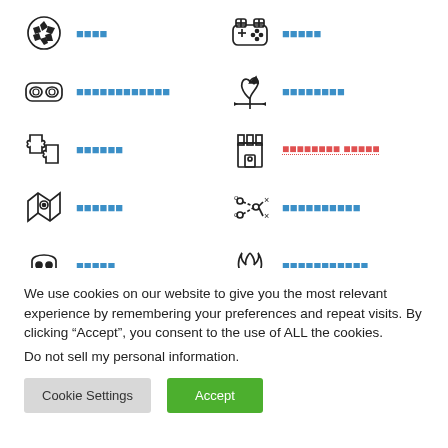[Figure (screenshot): Grid of icon links with redacted/encoded text labels in two columns. Icons include soccer ball, game controller, VR headset, rooster, puzzle pieces, castle tower, map, strategy diagram, ghost, campfire.]
We use cookies on our website to give you the most relevant experience by remembering your preferences and repeat visits. By clicking “Accept”, you consent to the use of ALL the cookies.
Do not sell my personal information.
Cookie Settings   Accept